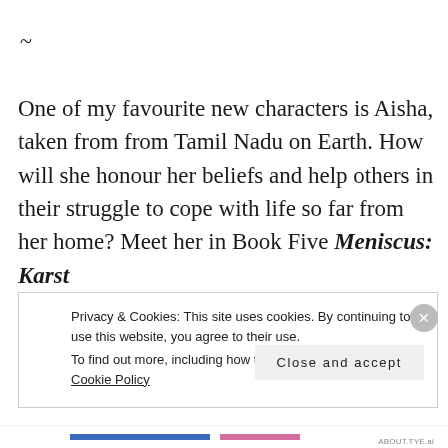~
One of my favourite new characters is Aisha, taken from from Tamil Nadu on Earth. How will she honour her beliefs and help others in their struggle to cope with life so far from her home? Meet her in Book Five Meniscus: Karst
Privacy & Cookies: This site uses cookies. By continuing to use this website, you agree to their use.
To find out more, including how to control cookies, see here: Cookie Policy
Close and accept